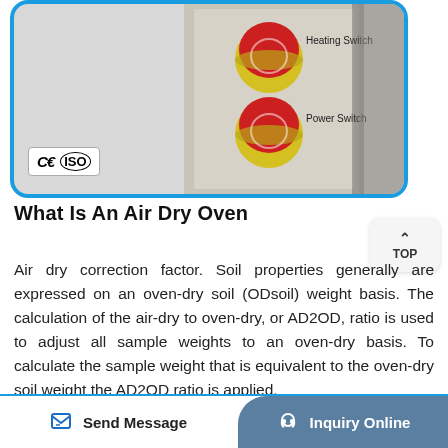[Figure (photo): Photo of an air dry oven control panel showing two red/yellow mushroom buttons labeled 'Heating Switch' and 'Power Switch', with CE and ISO certification logos in lower left. Displayed in a blue-bordered rounded card.]
What Is An Air Dry Oven
Air dry correction factor. Soil properties generally are expressed on an oven-dry soil (ODsoil) weight basis. The calculation of the air-dry to oven-dry, or AD2OD, ratio is used to adjust all sample weights to an oven-dry basis. To calculate the sample weight that is equivalent to the oven-dry soil weight the AD2OD ratio is applied.
Send Message    Inquiry Online